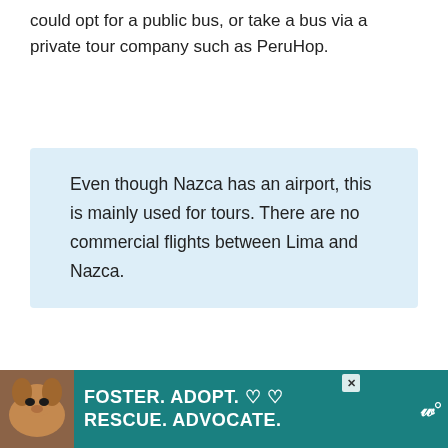could opt for a public bus, or take a bus via a private tour company such as PeruHop.
Even though Nazca has an airport, this is mainly used for tours. There are no commercial flights between Lima and Nazca.
How to get to Nazca from Arequipa
Arequipa is another popular jumping off point reach Nazca. However the route is much longer; if two
[Figure (other): Advertisement banner: dog photo on left, teal background, white bold text reading FOSTER. ADOPT. RESCUE. ADVOCATE. with heart icons, close button top-right, and share icon bottom-right.]